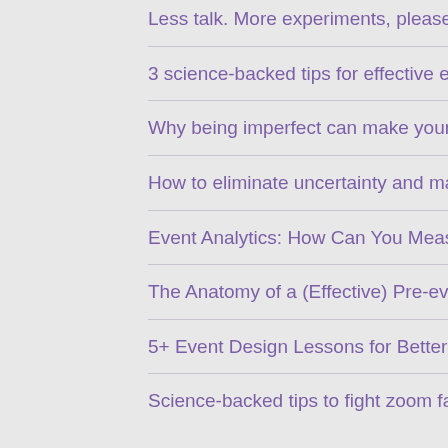Less talk. More experiments, please.
3 science-backed tips for effective event networking
Why being imperfect can make your events thrive
How to eliminate uncertainty and make the future of events bright(er)
Event Analytics: How Can You Measure Emotions?
The Anatomy of a (Effective) Pre-event Email
5+ Event Design Lessons for Better Engagement from Nudgestock 2021
Science-backed tips to fight zoom fatigue at